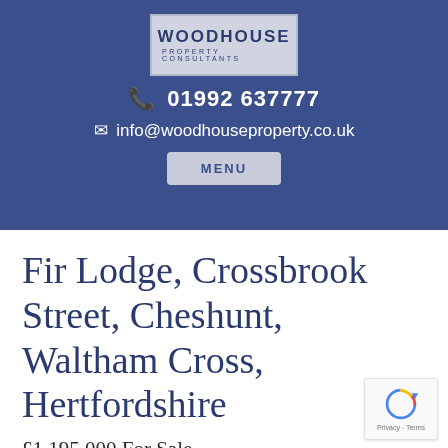[Figure (logo): Woodhouse Property Consultants logo — dark blue text on light grey/blue background box]
📞 01992 637777
✉ info@woodhouseproperty.co.uk
MENU
Fir Lodge, Crossbrook Street, Cheshunt, Waltham Cross, Hertfordshire
£1,195,000 For Sale